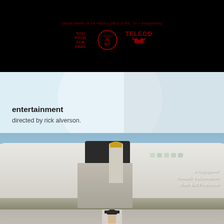[Figure (screenshot): Black background film credits screen with text 'special thanks to the mayor's office of film, TV + broadcasting' and three logos in dark red: a stacked text logo, a 'Made in NY' circular badge, and a TELECO logo]
entertainment
directed by rick alverson.
[Figure (photo): Photo of a person boarding a plane, climbing stairs into the aircraft door. White plane fuselage visible. Italic white text overlay reads: 'a Jagjaguwar / Nomadic Independence / Made Bed Production']
[Figure (photo): Partial photo at bottom showing a person wearing a bowler hat, mostly cropped]